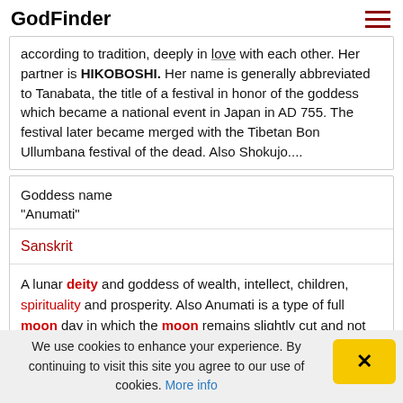GodFinder
according to tradition, deeply in love with each other. Her partner is HIKOBOSHI. Her name is generally abbreviated to Tanabata, the title of a festival in honor of the goddess which became a national event in Japan in AD 755. The festival later became merged with the Tibetan Bon Ullumbana festival of the dead. Also Shokujo....
| Goddess name
"Anumati" |
| Sanskrit |
| A lunar deity and goddess of wealth, intellect, children, spirituality and prosperity. Also Anumati is a type of full moon day in which the moon remains slightly cut and not fully full moon called as Chaturdashi bhiddha purnima Sanskrit |
We use cookies to enhance your experience. By continuing to visit this site you agree to our use of cookies. More info